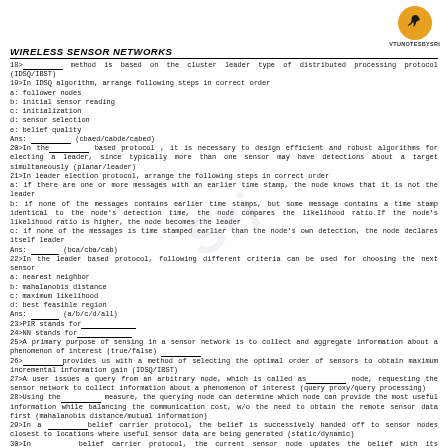[Figure (logo): VTUNOTESBYSRI logo with orange circle containing a bird/person silhouette]
WIRELESS SENSOR NETWORKS
18>____ method is based on the cluster leader type of distributed processing protocol (IDSQ/IBST)
19>In IDSQ algorithm, arrange following steps in correct order
a: follower nodes
b: initial sensor reading
c: initialization
d: sensor selection
e: belief quality
Ans: ____ (cbaed/cabde/cabed)
20>In the____ based protocol , it is necessary to design efficient and robust algorithms for electing a leader, since typically more than one sensor may have detections about a target simultaneously (planar/leader)
21>In leader election protocol, arrange the following steps in correct order
a: if there are one or more messages with an earlier time stamp, the node knows that it is not the leader
b: if none of the messages contains earlier time stamps, but some message contains a time stamp identical to the node's detection time, the node compares the likelihood ratio.If the node's likelihood ratio is higher, the node becomes the leader
c: if none of the messages is time stamped earlier than the node's own detection, the node declares itself leader
Ans: ____ (bca/cba/cab)
22>In the leader based protocol, following different criteria can be used for choosing the next sensor
a: nearest neighbor
b: mahalanobis distance
c: maximum likelihood
d: best feasible region
Ans: ____ (a/b/c/d/all)
23>PIR stands for____
24>NN stands for____
25>A primary purpose of sensing in a sensor network is to collect and aggregate information about a phenomenon of interest (true/false) ____
26>____provides us with a method of selecting the optimal order of sensors to obtain maximum incremental information gain (IDSQ/IBST)
27>A user issues a query from an arbitrary node, which is called as____ node, requesting the sensor network to collect information about a phenomenon of interest (query proxy/query processing)
28>Using the____ measure, the querying node can determine which node can provide the most useful information while balancing the communication cost, w/o the need to obtain the remote sensor data first (mahalanobis distance/mutual information)
29>In a ____ belief carrier protocol, the belief is successively handed off to sensor nodes closest to locations where useful sensor data are being generated (static/dynamic)
30>In____ belief carrier protocol, the current sensor node updates the belief with its measurement and sends the estimation to the next neighbor that it determines can best improve the estimation (static/dynamic)